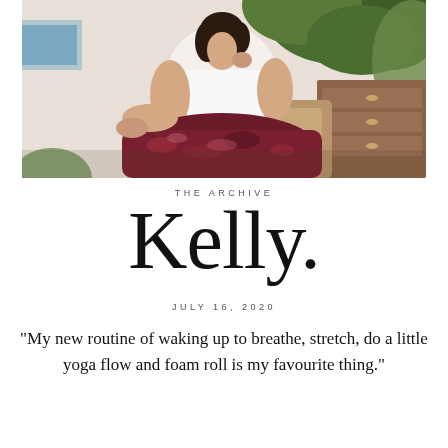[Figure (photo): Woman in white t-shirt and dark burgundy sequined skirt seated outdoors near green tropical plants and a wooden dresser]
THE ARCHIVE
Kelly
JULY 16, 2020
"My new routine of waking up to breathe, stretch, do a little yoga flow and foam roll is my favourite thing."